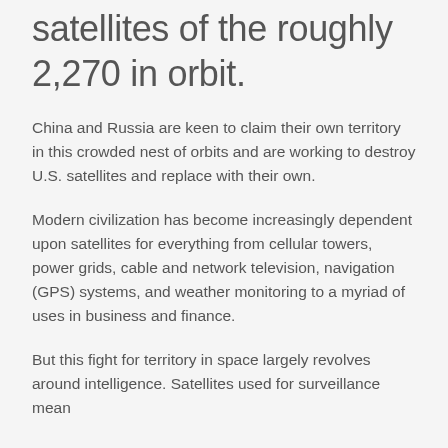satellites of the roughly 2,270 in orbit.
China and Russia are keen to claim their own territory in this crowded nest of orbits and are working to destroy U.S. satellites and replace with their own.
Modern civilization has become increasingly dependent upon satellites for everything from cellular towers, power grids, cable and network television, navigation (GPS) systems, and weather monitoring to a myriad of uses in business and finance.
But this fight for territory in space largely revolves around intelligence. Satellites used for surveillance mean